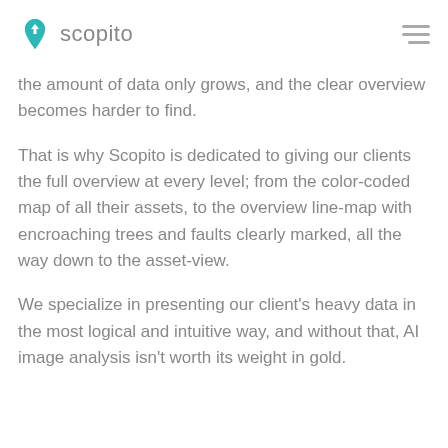scopito
the amount of data only grows, and the clear overview becomes harder to find.
That is why Scopito is dedicated to giving our clients the full overview at every level; from the color-coded map of all their assets, to the overview line-map with encroaching trees and faults clearly marked, all the way down to the asset-view.
We specialize in presenting our client's heavy data in the most logical and intuitive way, and without that, AI image analysis isn't worth its weight in gold.